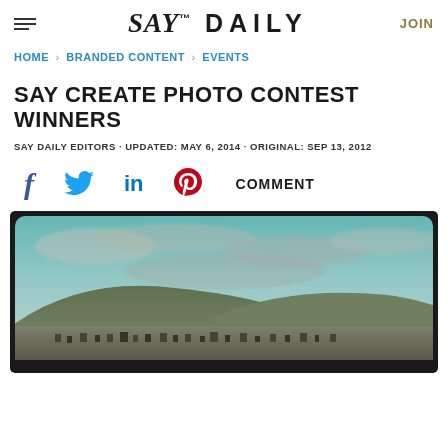SAY DAILY | JOIN
HOME > BRANDED CONTENT > EVENTS
SAY CREATE PHOTO CONTEST WINNERS
SAY DAILY EDITORS · UPDATED: MAY 6, 2014 · ORIGINAL: SEP 13, 2012
[Figure (screenshot): Social sharing icons: Facebook (f), Twitter (bird), LinkedIn (in), Pinterest (p), and COMMENT label]
[Figure (photo): Landscape photograph with vintage/filtered look showing rolling hills with a small town or suburb below, overcast cloudy sky with teal/turquoise tones, displayed in a black rounded-corner frame]